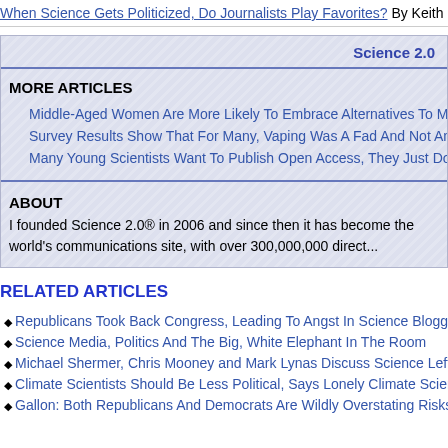When Science Gets Politicized, Do Journalists Play Favorites? By Keith Klo...
Science 2.0
MORE ARTICLES
Middle-Aged Women Are More Likely To Embrace Alternatives To Me...
Survey Results Show That For Many, Vaping Was A Fad And Not An A...
Many Young Scientists Want To Publish Open Access, They Just Don...
ABOUT
I founded Science 2.0® in 2006 and since then it has become the world's communications site, with over 300,000,000 direct...
RELATED ARTICLES
Republicans Took Back Congress, Leading To Angst In Science Bloggin...
Science Media, Politics And The Big, White Elephant In The Room
Michael Shermer, Chris Mooney and Mark Lynas Discuss Science Left B...
Climate Scientists Should Be Less Political, Says Lonely Climate Scienti...
Gallon: Both Republicans And Democrats Are Wildly Overstating Risks...